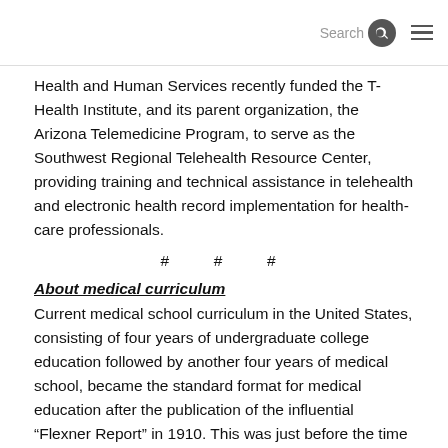Search
Health and Human Services recently funded the T-Health Institute, and its parent organization, the Arizona Telemedicine Program, to serve as the Southwest Regional Telehealth Resource Center, providing training and technical assistance in telehealth and electronic health record implementation for health-care professionals.
# # #
About medical curriculum
Current medical school curriculum in the United States, consisting of four years of undergraduate college education followed by another four years of medical school, became the standard format for medical education after the publication of the influential “Flexner Report” in 1910. This was just before the time of the construction of the Auditorium Building of the Phoenix Union High School. Ironically, Abraham Flexner, who authored his legendary report, “Medical Education in the United States and Canada,” actually was a high school teacher for many years prior to